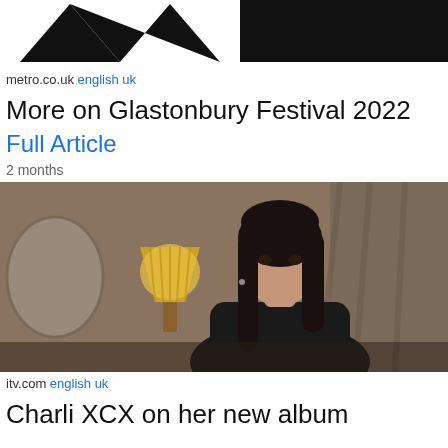[Figure (logo): Metro logo - black triangles/M shape on white background]
metro.co.uk english uk
More on Glastonbury Festival 2022
Full Article
2 months
[Figure (photo): A woman with dark hair wearing a black outfit, sitting in a room with a lamp in the background]
itv.com english uk
Charli XCX on her new album